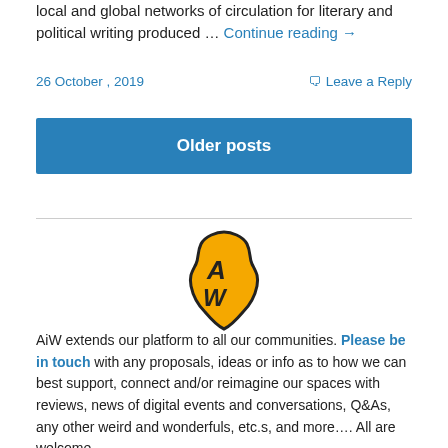local and global networks of circulation for literary and political writing produced … Continue reading →
26 October , 2019
Leave a Reply
Older posts
[Figure (logo): AiW logo — Africa continent shape in gold/yellow with letters A and W, black outline]
AiW extends our platform to all our communities. Please be in touch with any proposals, ideas or info as to how we can best support, connect and/or reimagine our spaces with reviews, news of digital events and conversations, Q&As, any other weird and wonderfuls, etc.s, and more…. All are welcome.